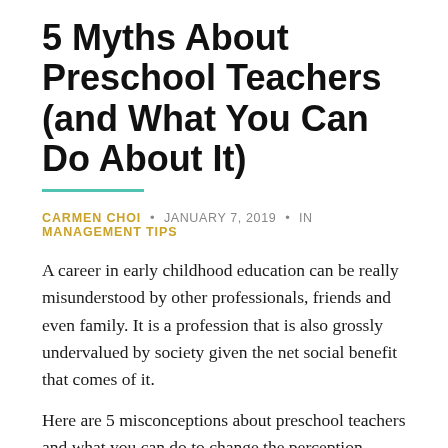5 Myths About Preschool Teachers (and What You Can Do About It)
CARMEN CHOI · JANUARY 7, 2019 · IN MANAGEMENT TIPS
A career in early childhood education can be really misunderstood by other professionals, friends and even family. It is a profession that is also grossly undervalued by society given the net social benefit that comes of it.
Here are 5 misconceptions about preschool teachers and what you can do to change the perception.
Myth #1: Preschool teachers are